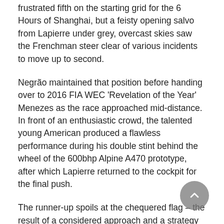frustrated fifth on the starting grid for the 6 Hours of Shanghai, but a feisty opening salvo from Lapierre under grey, overcast skies saw the Frenchman steer clear of various incidents to move up to second.
Negrão maintained that position before handing over to 2016 FIA WEC 'Revelation of the Year' Menezes as the race approached mid-distance. In front of an enthusiastic crowd, the talented young American produced a flawless performance during his double stint behind the wheel of the 600bhp Alpine A470 prototype, after which Lapierre returned to the cockpit for the final push.
The runner-up spoils at the chequered flag – the result of a considered approach and a strategy focussed on efficiency – were just reward for a determined effort in a memorable contest not short on drama, tension and excitement. The outcome also means Menezes will enter the season finale